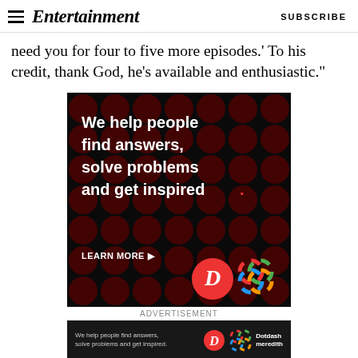Entertainment | SUBSCRIBE
need you for four to five more episodes.' To his credit, thank God, he's available and enthusiastic."
[Figure (illustration): Advertisement for Dotdash Meredith: dark background with red polka dots pattern, bold white text reading 'We help people find answers, solve problems and get inspired.' with a red period, 'LEARN MORE' in white with arrow, Dotdash D logo in red circle and Meredith colorful knot logo]
ADVERTISEMENT
[Figure (illustration): Bottom banner ad: dark background, text 'We help people find answers, solve problems and get inspired.' with Dotdash D logo and Dotdash meredith colorful knot logo and text 'Dotdash meredith']